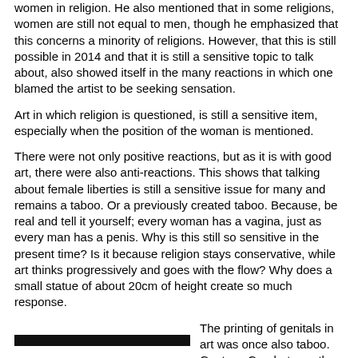women in religion. He also mentioned that in some religions, women are still not equal to men, though he emphasized that this concerns a minority of religions. However, that this is still possible in 2014 and that it is still a sensitive topic to talk about, also showed itself in the many reactions in which one blamed the artist to be seeking sensation.
Art in which religion is questioned, is still a sensitive item, especially when the position of the woman is mentioned.
There were not only positive reactions, but as it is with good art, there were also anti-reactions. This shows that talking about female liberties is still a sensitive issue for many and remains a taboo. Or a previously created taboo. Because, be real and tell it yourself; every woman has a vagina, just as every man has a penis. Why is this still so sensitive in the present time? Is it because religion stays conservative, while art thinks progressively and goes with the flow? Why does a small statue of about 20cm of height create so much response.
[Figure (other): A thick black horizontal bar/line used as a decorative or section separator element on the left side of the bottom section.]
The printing of genitals in art was once also taboo. Gustave Courbet was the first artist who showed the female vagina in all its glory